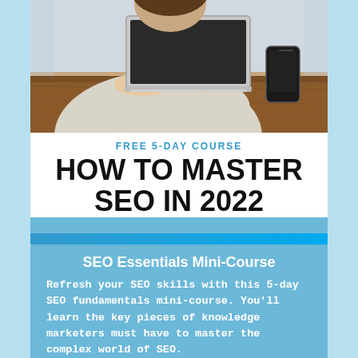[Figure (photo): Person typing on a laptop at a wooden desk with a smartphone nearby, viewed from above]
FREE 5-DAY COURSE
HOW TO MASTER SEO IN 2022
SEO Essentials Mini-Course
Refresh your SEO skills with this 5-day SEO fundamentals mini-course. You'll learn the key pieces of knowledge marketers must have to master the complex world of SEO.